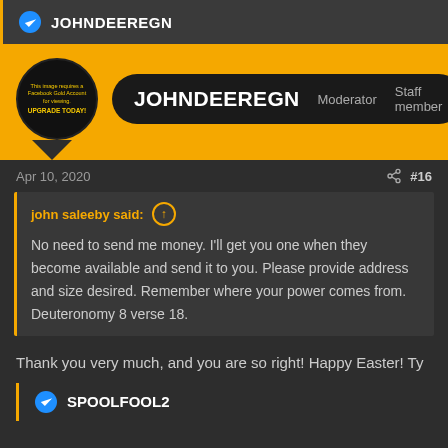JOHNDEEREGN
[Figure (screenshot): User profile banner with avatar, username JOHNDEEREGN, Moderator and Staff member tags on yellow background]
Apr 10, 2020  #16
john saleeby said: No need to send me money. I'll get you one when they become available and send it to you. Please provide address and size desired. Remember where your power comes from. Deuteronomy 8 verse 18.
Thank you very much, and you are so right! Happy Easter! Ty
SPOOLFOOL2